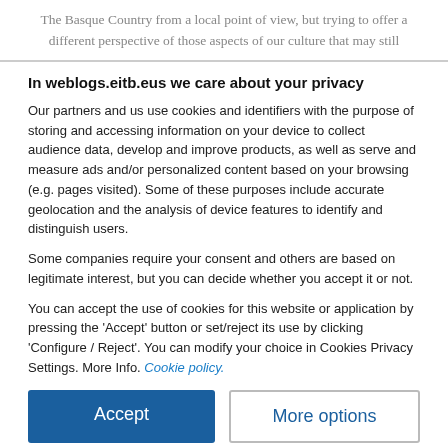The Basque Country from a local point of view, but trying to offer a different perspective of those aspects of our culture that may still
In weblogs.eitb.eus we care about your privacy
Our partners and us use cookies and identifiers with the purpose of storing and accessing information on your device to collect audience data, develop and improve products, as well as serve and measure ads and/or personalized content based on your browsing (e.g. pages visited). Some of these purposes include accurate geolocation and the analysis of device features to identify and distinguish users.
Some companies require your consent and others are based on legitimate interest, but you can decide whether you accept it or not.
You can accept the use of cookies for this website or application by pressing the 'Accept' button or set/reject its use by clicking 'Configure / Reject'. You can modify your choice in Cookies Privacy Settings. More Info. Cookie policy.
Accept
More options
See list of partners
Sibbo  ver 125.38